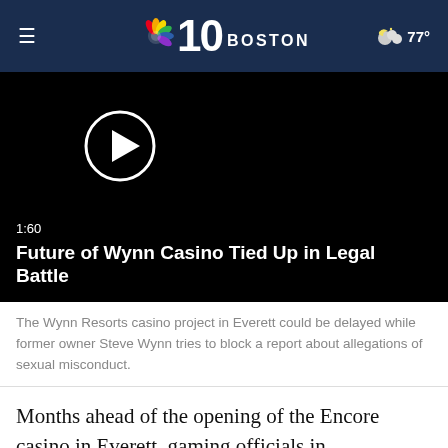≡  10 BOSTON  77°
[Figure (screenshot): Black video thumbnail with white circular play button. Shows time code 1:60 and title 'Future of Wynn Casino Tied Up in Legal Battle' in white text on black background.]
The Wynn Resorts casino project in Everett could be delayed while former owner Steve Wynn tries to block a report about allegations of sexual misconduct.
Months ahead of the opening of the Encore casino in Everett, gaming officials in Massachusetts are facing a court battle with the casino's former owner, Steve Wynn.